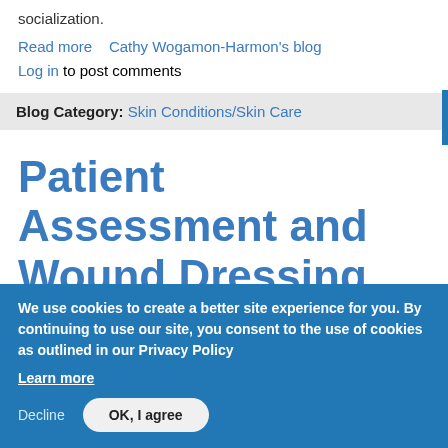socialization.
Read more   Cathy Wogamon-Harmon's blog
Log in to post comments
Blog Category: Skin Conditions/Skin Care
Patient Assessment and Wound Dressing
We use cookies to create a better site experience for you. By continuing to use our site, you consent to the use of cookies as outlined in our Privacy Policy
Learn more
Decline   OK, I agree